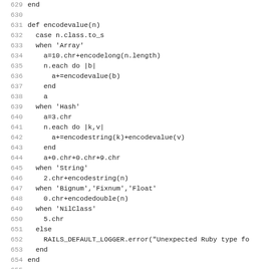Code listing lines 629-661, Ruby source code showing encodevalue, encodestring, encodedouble, encodelong functions